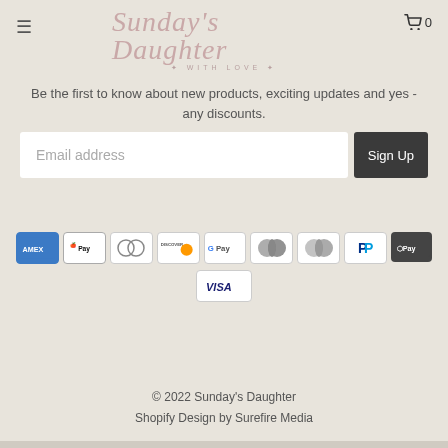Sunday's Daughter WITH LOVE
Be the first to know about new products, exciting updates and yes - any discounts.
Email address
Sign Up
[Figure (other): Payment method icons: AMEX, Apple Pay, Diners Club, Discover, Google Pay, Mastercard, Mastercard, PayPal, ShopPay, Visa]
© 2022 Sunday's Daughter
Shopify Design by Surefire Media